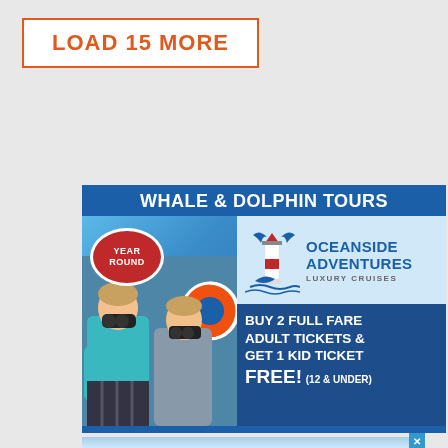LOAD 15 MORE
[Figure (illustration): Advertisement for Oceanside Adventures Whale & Dolphin Tours. Blue background with title 'WHALE & DOLPHIN TOURS'. Left side shows photo of two children looking through binoculars with a red oval badge reading 'YEAR ROUND'. Right side shows Oceanside Adventures Luxury Cruises logo with a lighthouse and whale tail graphic, and promotional text: 'BUY 2 FULL FARE ADULT TICKETS & GET 1 KID TICKET FREE! (12 & UNDER)']
[Figure (photo): Partial view of a second advertisement at the bottom of the page, partially cut off, showing a blue sky/ocean scene]